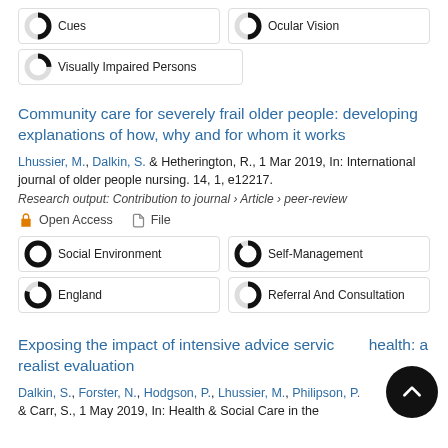Cues
Ocular Vision
Visually Impaired Persons
Community care for severely frail older people: developing explanations of how, why and for whom it works
Lhussier, M., Dalkin, S. & Hetherington, R., 1 Mar 2019, In: International journal of older people nursing. 14, 1, e12217.
Research output: Contribution to journal › Article › peer-review
Open Access   File
Social Environment
Self-Management
England
Referral And Consultation
Exposing the impact of intensive advice service health: a realist evaluation
Dalkin, S., Forster, N., Hodgson, P., Lhussier, M., Philipson, P. & Carr, S., 1 May 2019, In: Health & Social Care in the